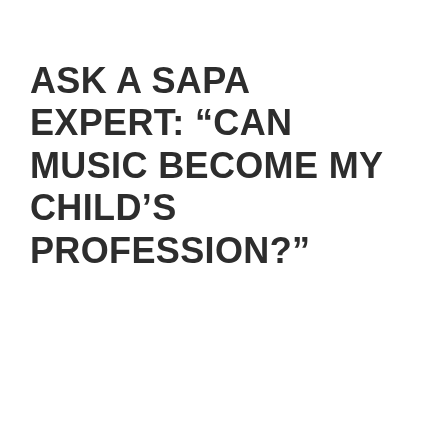ASK A SAPA EXPERT: “CAN MUSIC BECOME MY CHILD’S PROFESSION?”